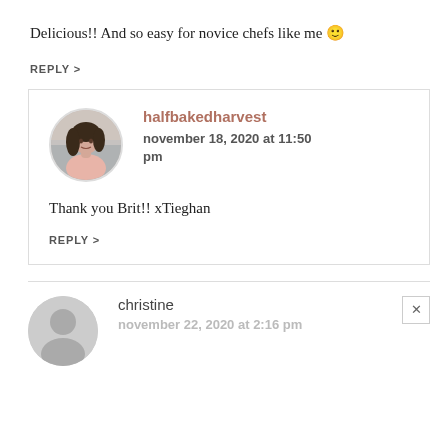Delicious!! And so easy for novice chefs like me 🙂
REPLY >
halfbakedharvest
november 18, 2020 at 11:50 pm
Thank you Brit!! xTieghan
REPLY >
christine
november 22, 2020 at 2:16 pm